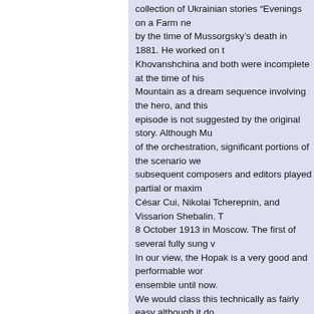collection of Ukrainian stories “Evenings on a Farm ne by the time of Mussorgsky's death in 1881. He worked on Khovanshchina and both were incomplete at the time of his Mountain as a dream sequence involving the hero, and this episode is not suggested by the original story. Although Mu of the orchestration, significant portions of the scenario we subsequent composers and editors played partial or maxim César Cui, Nikolai Tcherepnin, and Vissarion Shebalin. 8 October 1913 in Moscow. The first of several fully sung v In our view, the Hopak is a very good and performable wor ensemble until now. We would class this technically as fairly easy although it do
No. of Players : 5                        Difficulty : Fairly Easy
Download sample file : Click here
In most cases, this is the arrangment being played back us actual performance by groups commissioned by Undiscove
[Figure (screenshot): Partial screenshot showing 'Undiscov' text (logo/branding) and a silhouette image, partially visible at bottom right of page]